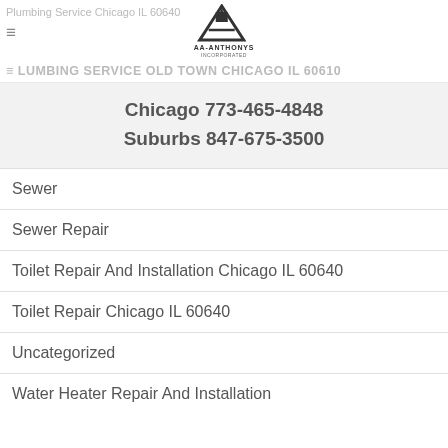Plumbing Service Chicago IL 60640
[Figure (logo): AA-Anthonys Incorporated logo — black triangle/A shape with text AA-ANTHONYS INCORPORATED below]
PLUMBING SERVICE OLD TOWN CHICAGO IL 60610
Chicago 773-465-4848
Suburbs 847-675-3500
Sewer
Sewer Repair
Toilet Repair And Installation Chicago IL 60640
Toilet Repair Chicago IL 60640
Uncategorized
Water Heater Repair And Installation